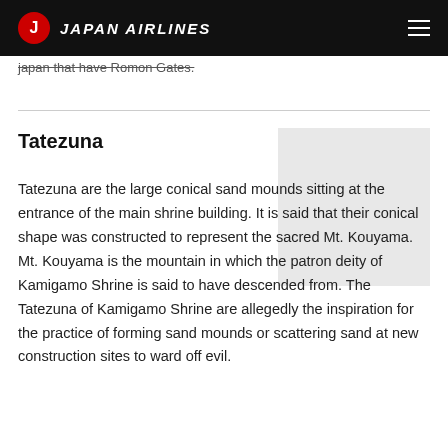JAPAN AIRLINES
japan that have Romon Gates.
Tatezuna
[Figure (photo): Image placeholder for Tatezuna sand mounds]
Tatezuna are the large conical sand mounds sitting at the entrance of the main shrine building. It is said that their conical shape was constructed to represent the sacred Mt. Kouyama. Mt. Kouyama is the mountain in which the patron deity of Kamigamo Shrine is said to have descended from. The Tatezuna of Kamigamo Shrine are allegedly the inspiration for the practice of forming sand mounds or scattering sand at new construction sites to ward off evil.